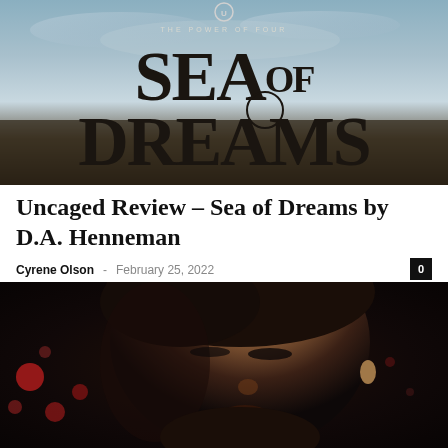[Figure (photo): Book cover for 'Sea of Dreams' by D.A. Henneman - The Power of Four series. Dark atmospheric cover with large serif typography spelling 'SEA OF DREAMS' against a blue-grey sky background.]
Uncaged Review – Sea of Dreams by D.A. Henneman
Cyrene Olson – February 25, 2022
[Figure (photo): Close-up photo of a young man with dark hair looking downward, with blurred bokeh lights (red and other colors) in the background suggesting a nighttime or indoor setting.]